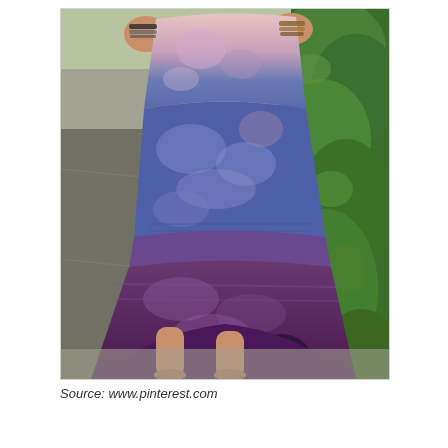[Figure (photo): A woman wearing a tie-dye high-low maxi dress with colors transitioning from pink/blush at the top, through navy/indigo blue in the middle, to deep purple/plum at the bottom. She is standing barefoot on a concrete sidewalk outdoors with green bushes/shrubs visible on the right. She is wearing bracelets on both wrists and her hands are on her hips. Only the torso downward is visible.]
Source: www.pinterest.com